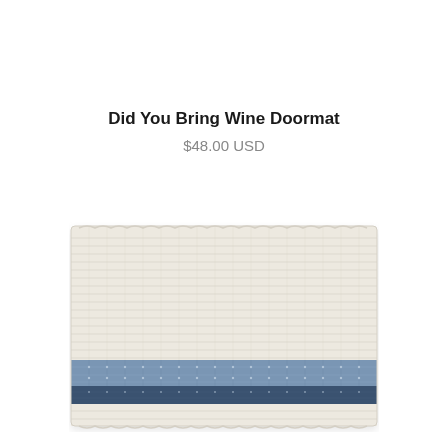Did You Bring Wine Doormat
$48.00 USD
[Figure (photo): A woven rope doormat with a cream/off-white body and two horizontal stripes near the bottom: one in medium blue and one in dark navy blue. The mat has a textured woven appearance with visible rope loops along the edges.]